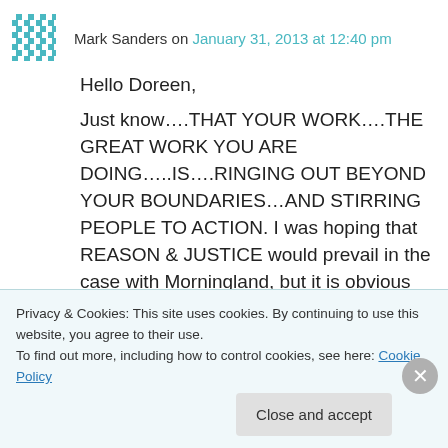Mark Sanders on January 31, 2013 at 12:40 pm
Hello Doreen,
Just know….THAT YOUR WORK….THE GREAT WORK YOU ARE DOING…..IS….RINGING OUT BEYOND YOUR BOUNDARIES…AND STIRRING PEOPLE TO ACTION. I was hoping that REASON & JUSTICE would prevail in the case with Morningland, but it is obvious that HOWELL COUNTY IS RULED BY & THROUGH “THE RULE OF WHIM” and NOT by LAW.
Privacy & Cookies: This site uses cookies. By continuing to use this website, you agree to their use.
To find out more, including how to control cookies, see here: Cookie Policy
Close and accept